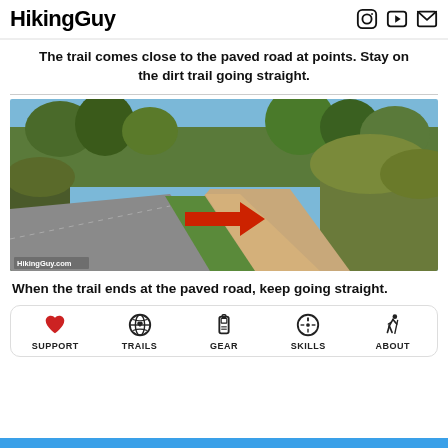HikingGuy
The trail comes close to the paved road at points. Stay on the dirt trail going straight.
[Figure (photo): Outdoor trail photo showing a dirt path next to a paved road, with a red arrow pointing to the dirt trail to go straight. Watermark reads HikingGuy.com]
When the trail ends at the paved road, keep going straight.
[Figure (infographic): Navigation bar with 5 icons: SUPPORT (heart), TRAILS (globe), GEAR (GPS device), SKILLS (compass), ABOUT (hiker)]